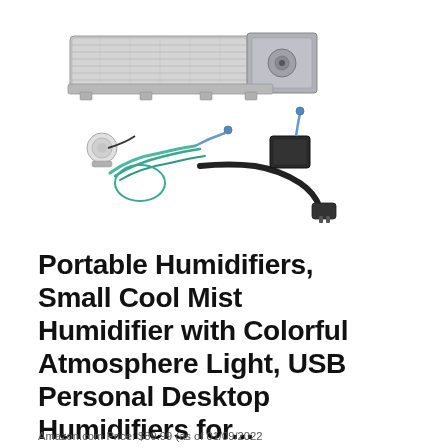[Figure (photo): Product photo showing a fireplace blower fan kit with metal crossflow blower unit, wiring harness with green and teal cables, small sensor/thermostat components, black power cord with plug, and a small black control module.]
Portable Humidifiers, Small Cool Mist Humidifier with Colorful Atmosphere Light, USB Personal Desktop Humidifiers for...
Amazon.com Price: $89.99 (as of 01/09/2022